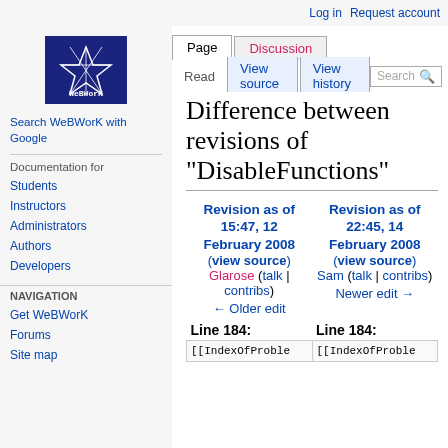Log in  Request account
[Figure (logo): WeBWorK logo - dark blue box with star graphic and WeBWorK text]
Search WeBWorK with Google
Documentation for
Students
Instructors
Administrators
Authors
Developers
NAVIGATION
Get WeBWorK
Forums
Site map
Difference between revisions of "DisableFunctions"
| Revision as of 15:47, 12 February 2008 (view source) | Revision as of 22:45, 14 February 2008 (view source) |
| --- | --- |
| Glarose (talk | contribs) | Sam (talk | contribs) |
| ← Older edit | Newer edit → |
| Line 184: | Line 184: |
| [[IndexOfProble... | [[IndexOfProble... |